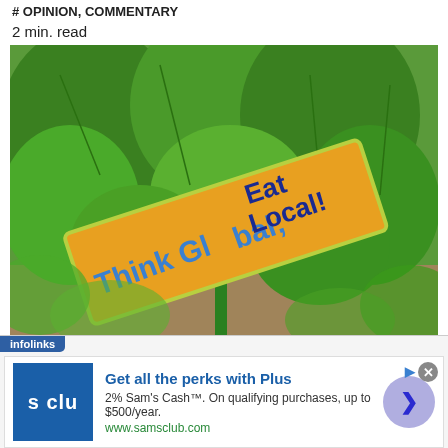# OPINION, COMMENTARY
2 min. read
[Figure (photo): Outdoor garden photo with green plants and a yellow/orange sign on a green stake that reads 'Think Global; Eat Local!' in blue lettering]
infolinks
Get all the perks with Plus
2% Sam's Cash™. On qualifying purchases, up to $500/year.
www.samsclub.com